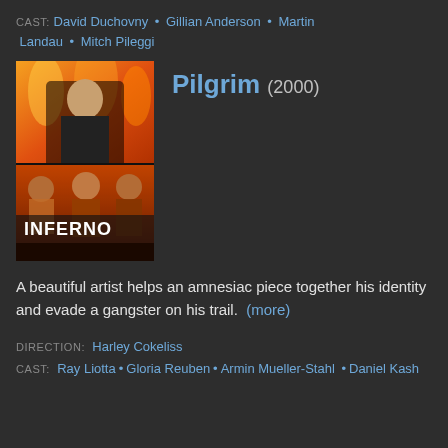CAST: David Duchovny • Gillian Anderson • Martin Landau • Mitch Pileggi
[Figure (photo): Movie poster for Pilgrim (2000), showing the Inferno alternate title art with a man in a black shirt against a fiery background, and a lower panel with action figures and the text INFERNO]
Pilgrim (2000)
A beautiful artist helps an amnesiac piece together his identity and evade a gangster on his trail. (more)
DIRECTION: Harley Cokeliss
CAST: Ray Liotta • Gloria Reuben • Armin Mueller-Stahl • Daniel Kash